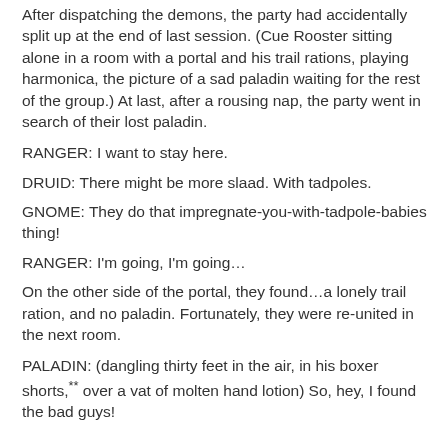After dispatching the demons, the party had accidentally split up at the end of last session. (Cue Rooster sitting alone in a room with a portal and his trail rations, playing harmonica, the picture of a sad paladin waiting for the rest of the group.) At last, after a rousing nap, the party went in search of their lost paladin.
RANGER: I want to stay here.
DRUID: There might be more slaad. With tadpoles.
GNOME: They do that impregnate-you-with-tadpole-babies thing!
RANGER: I'm going, I'm going…
On the other side of the portal, they found…a lonely trail ration, and no paladin. Fortunately, they were re-united in the next room.
PALADIN: (dangling thirty feet in the air, in his boxer shorts,** over a vat of molten hand lotion) So, hey, I found the bad guys!